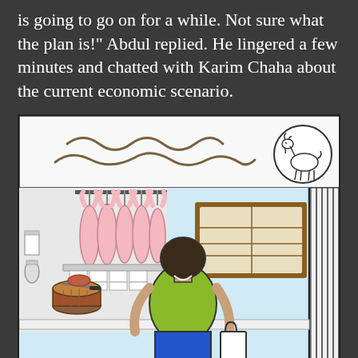is going to go on for a while. Not sure what the plan is!" Abdul replied. He lingered a few minutes and chatted with Karim Chaha about the current economic scenario.
[Figure (illustration): A comic/graphic novel illustration showing a butcher shop scene. At the top is a sign with wavy Arabic-style text and a logo of a goat in a circle. Below is a shop interior with light blue walls: on the left, several whole pink carcasses hanging from hooks above a counter with boxes stacked beneath; a wooden chopping block stump with a knife and some meat on it; in the center background, a brown-framed window/menu board with a grid pattern; on the right side, vertical striped curtains or a shutter. In the foreground, viewed from behind, stands a person with dark hair wearing a yellow-green t-shirt and blue trousers, carrying a white shopping bag, facing into the shop.]